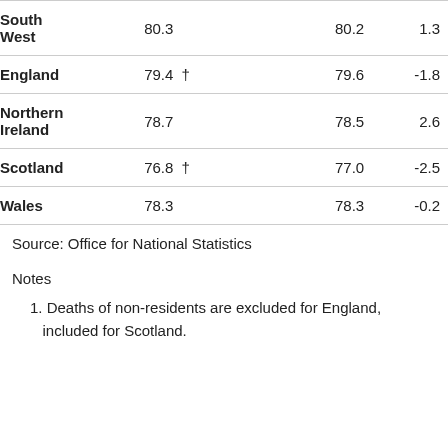|  | Col1 | Col2 | Col3 |
| --- | --- | --- | --- |
| South West | 80.3 | 80.2 | 1.3 |
| England | 79.4 † | 79.6 | -1.8 |
| Northern Ireland | 78.7 | 78.5 | 2.6 |
| Scotland | 76.8 † | 77.0 | -2.5 |
| Wales | 78.3 | 78.3 | -0.2 |
Source: Office for National Statistics
Notes
1. Deaths of non-residents are excluded for England, included for Scotland.